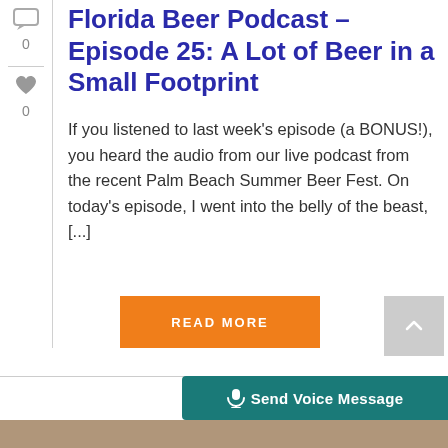[Figure (other): Chat bubble icon with count 0]
[Figure (other): Heart icon with count 0]
Florida Beer Podcast – Episode 25: A Lot of Beer in a Small Footprint
If you listened to last week's episode (a BONUS!), you heard the audio from our live podcast from the recent Palm Beach Summer Beer Fest. On today's episode, I went into the belly of the beast, [...]
[Figure (other): Orange READ MORE button]
[Figure (other): Gray back-to-top button with up arrow]
[Figure (other): Teal Send Voice Message button with microphone icon]
[Figure (photo): Bottom image strip, partially visible]